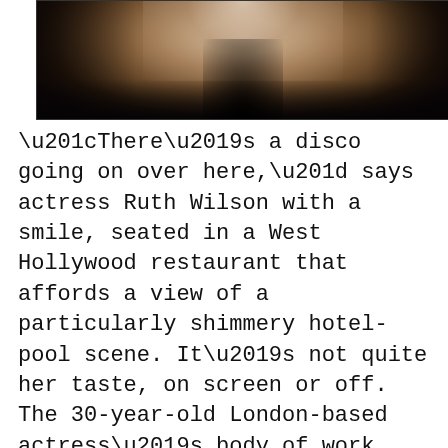[Figure (photo): A blurred, high-contrast photograph of a figure, predominantly dark tones with white/warm highlights at the top center, suggesting a person partially lit from above.]
“There’s a disco going on over here,” says actress Ruth Wilson with a smile, seated in a West Hollywood restaurant that affords a view of a particularly shimmery hotel-pool scene. It’s not quite her taste, on screen or off. The 30-year-old London-based actress’s body of work thus far reflects a certain seriousness, evident in heady performances like the title role in the 2006 BBC production of Jane Eyre, for which she received a Golden Globe